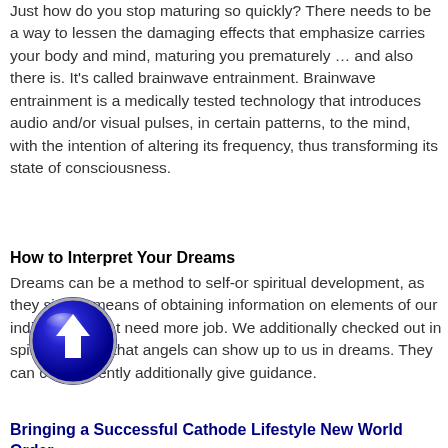Just how do you stop maturing so quickly? There needs to be a way to lessen the damaging effects that emphasize carries your body and mind, maturing you prematurely … and also there is. It's called brainwave entrainment. Brainwave entrainment is a medically tested technology that introduces audio and/or visual pulses, in certain patterns, to the mind, with the intention of altering its frequency, thus transforming its state of consciousness.
How to Interpret Your Dreams
Dreams can be a method to self-or spiritual development, as they simple means of obtaining information on elements of our individuality that need more job. We additionally checked out in spiritual bibles that angels can show up to us in dreams. They can consequently additionally give guidance.
[Figure (illustration): A blue circular button/icon with a white upward-pointing arrow in the center, with a 3D glossy effect]
Bringing a Successful Cathode Lifestyle New World Order...